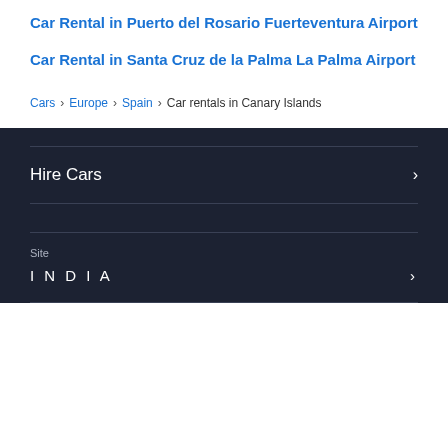Car Rental in Puerto del Rosario Fuerteventura Airport
Car Rental in Santa Cruz de la Palma La Palma Airport
Cars > Europe > Spain > Car rentals in Canary Islands
Hire Cars
Site
INDIA